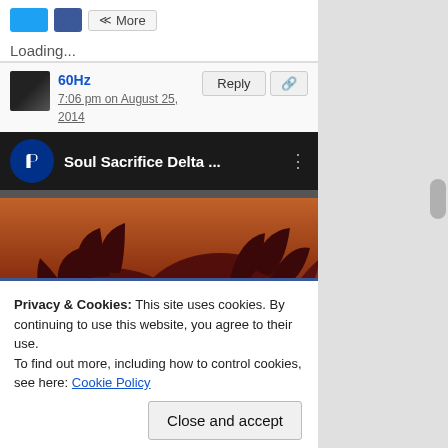[Figure (screenshot): Social share buttons: Twitter (blue), Facebook (blue), and More button with share icon]
Loading...
60Hz
7:06 pm on August 25, 2014
Reply | link icon
[Figure (screenshot): YouTube embed showing Soul Sacrifice Delta video thumbnail with PlayStation logo, title 'Soul Sacrifice Delta ...' and a dark fantasy monster image with orange/brown background. 'NY' text visible in corner.]
Privacy & Cookies: This site uses cookies. By continuing to use this website, you agree to their use.
To find out more, including how to control cookies, see here: Cookie Policy
Close and accept